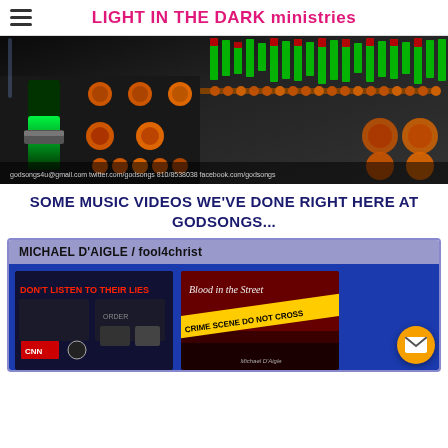LIGHT IN THE DARK ministries
[Figure (photo): Close-up photo of a professional audio mixing console/soundboard with illuminated faders, knobs, and LED meters in green and red. Text overlay at bottom: godsongs4u@gmail.com twitter.com/godsongs 810/8538038 facebook.com/godsongs]
SOME MUSIC VIDEOS WE'VE DONE RIGHT HERE AT GODSONGS...
MICHAEL D'AIGLE / fool4christ
[Figure (screenshot): Thumbnail image with red text 'DON'T LISTEN TO THEIR LIES' on dark background with logos including CNN and NBC]
[Figure (screenshot): Thumbnail image showing 'Blood in the Street' text and 'CRIME SCENE DO NOT CROSS' yellow tape on red/dark background, with 'Michael D'Aigle' at the bottom]